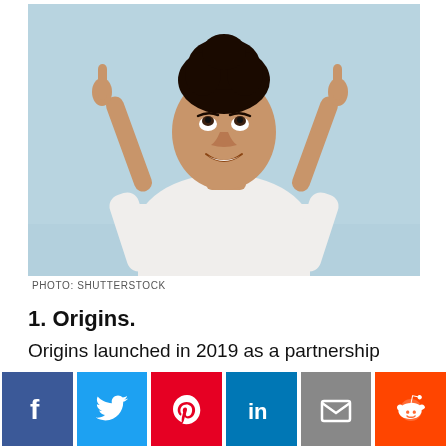[Figure (photo): Young Black woman in a white long-sleeve top against a light blue background, smiling and pointing upward with both index fingers]
PHOTO: SHUTTERSTOCK
1. Origins.
Origins launched in 2019 as a partnership between Bridgeway Capital's Creative Business Accelerator and Knotzland founder Nisha Blackwell. “The vision
[Figure (infographic): Social media sharing bar with Facebook, Twitter, Pinterest, LinkedIn, Email, and Reddit buttons]